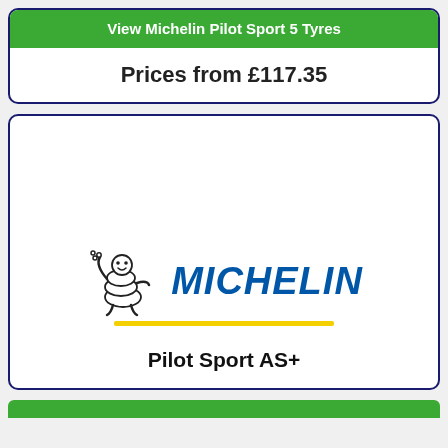View Michelin Pilot Sport 5 Tyres
Prices from £117.35
[Figure (logo): Michelin logo: Bibendum mascot figure waving, beside blue italic MICHELIN text, with a yellow underline bar]
Pilot Sport AS+